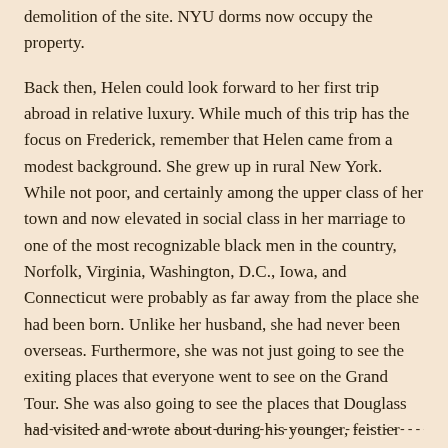...this disruption occurred in the 1870s, leading to the demolition of the site. NYU dorms now occupy the property.
Back then, Helen could look forward to her first trip abroad in relative luxury. While much of this trip has the focus on Frederick, remember that Helen came from a modest background. She grew up in rural New York. While not poor, and certainly among the upper class of her town and now elevated in social class in her marriage to one of the most recognizable black men in the country, Norfolk, Virginia, Washington, D.C., Iowa, and Connecticut were probably as far away from the place she had been born. Unlike her husband, she had never been overseas. Furthermore, she was not just going to see the exiting places that everyone went to see on the Grand Tour. She was also going to see the places that Douglass had visited and wrote about during his younger, feistier abolitionist days, back when she herself was a mere child presumably being fired to action by his autobiographies and speeches.
Indeed, the abolitionist movement played a "now and then" harmony through the first leg of their journey.
-----------------------------------------------------------------------------------------